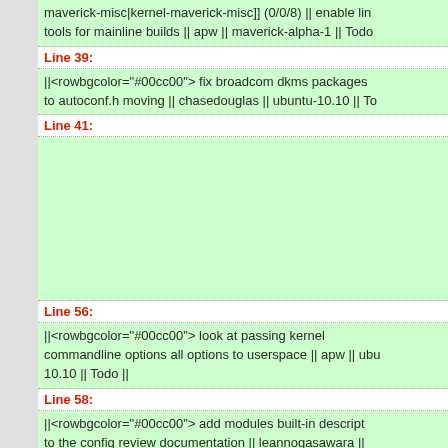maverick-misc|kernel-maverick-misc]] (0/0/8) || enable lin tools for mainline builds || apw || maverick-alpha-1 || Todo
Line 39:
||<rowbgcolor="#00cc00"> fix broadcom dkms packages to autoconf.h moving || chasedouglas || ubuntu-10.10 || To
Line 41:
Line 56:
||<rowbgcolor="#00cc00"> look at passing kernel commandline options all options to userspace || apw || ubu 10.10 || Todo ||
Line 58:
||<rowbgcolor="#00cc00"> add modules built-in descript to the config review documentation || leannogasawara ||